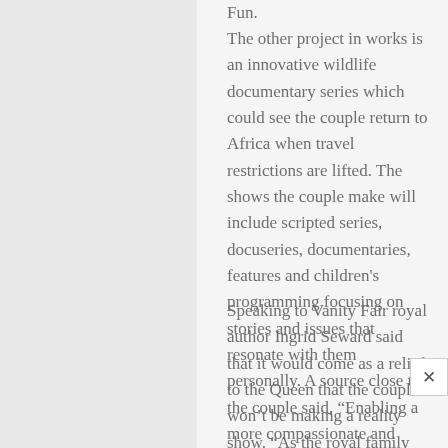Fun.
The other project in works is an innovative wildlife documentary series which could see the couple return to Africa when travel restrictions are lifted. The shows the couple make will include scripted series, docuseries, documentaries, features and children's programming focusing on stories and issues that resonate with them personally. A source close to the couple said, “Enabling a more compassionate and equitable world isn’t just something they do through their non-profit, it’s a belief they hold and model themselves which will carry through in this venture.”
Speaking to Vanity Fair royal author Ingrid Seward said that it would come as a relief to the Queen that the couple won’t be making a reality show. “As the royal family discovered in 1968 when they made the film Royal Family the public appetite for these fly on the wall documentaries is insatiable. It seemed a good idea at the time, but was considered too intimate and never shown again. For Harry and Meghan this would be too much too soon and I think